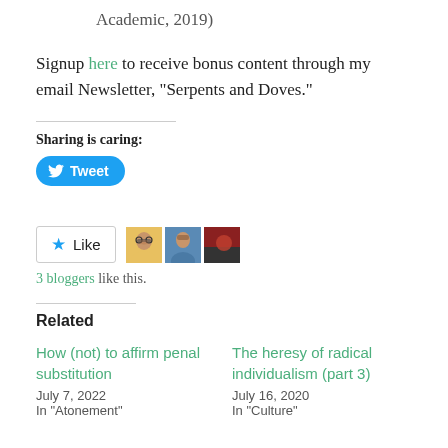Academic, 2019)
Signup here to receive bonus content through my email Newsletter, “Serpents and Doves.”
Sharing is caring:
[Figure (other): Tweet button (Twitter/X share button, blue rounded rectangle with bird icon and 'Tweet' text)]
[Figure (other): Like button with blue star icon and three blogger avatar photos. Text below reads '3 bloggers like this.']
3 bloggers like this.
Related
How (not) to affirm penal substitution
July 7, 2022
In “Atonement”
The heresy of radical individualism (part 3)
July 16, 2020
In “Culture”